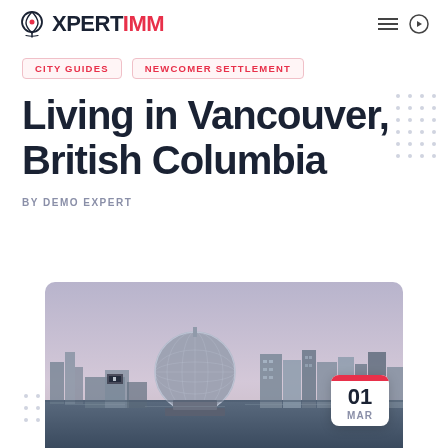XPERTIMM
CITY GUIDES   NEWCOMER SETTLEMENT
Living in Vancouver, British Columbia
BY DEMO EXPERT
[Figure (photo): Vancouver skyline at dusk featuring the Science World geodesic dome with city buildings along the waterfront, overlaid with a calendar badge showing 01 MAR]